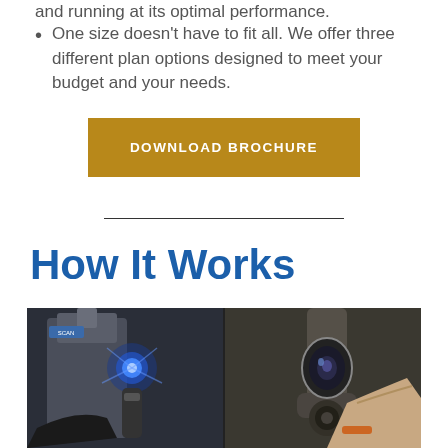and running at its optimal performance.
One size doesn't have to fit all. We offer three different plan options designed to meet your budget and your needs.
DOWNLOAD BROCHURE
How It Works
[Figure (photo): Two side-by-side industrial/technical equipment photos showing blue LED light scanning device and close-up of technical equipment component being handled]